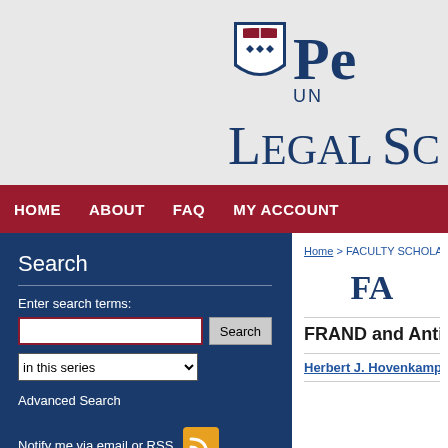[Figure (logo): University of Pennsylvania Law School logo with shield and text 'Pe... UN... LEGAL SC...' partially visible]
HOME  ABOUT  FAQ  MY ACCOUNT
Search
Enter search terms:
in this series
Advanced Search
Notify me via email or RSS
Home > FACULTY SCHOLARSHI...
FA...
FRAND and Antit...
Herbert J. Hovenkamp, Univers...